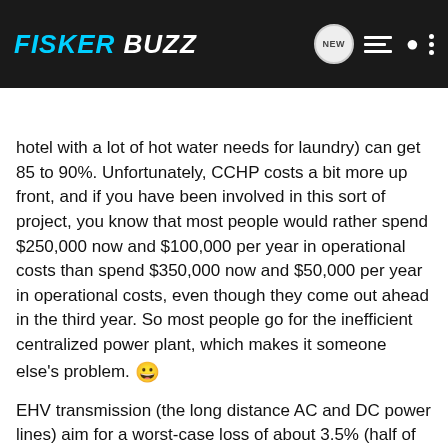FISKER BUZZ
hotel with a lot of hot water needs for laundry) can get 85 to 90%. Unfortunately, CCHP costs a bit more up front, and if you have been involved in this sort of project, you know that most people would rather spend $250,000 now and $100,000 per year in operational costs than spend $350,000 now and $50,000 per year in operational costs, even though they come out ahead in the third year. So most people go for the inefficient centralized power plant, which makes it someone else's problem. 😀
EHV transmission (the long distance AC and DC power lines) aim for a worst-case loss of about 3.5% (half of what you listed), but yes, when you add in step-up and step-down and local transmission and distribution, you're looking at 8 to 10% loss in many cases ... dropping a 35% efficient non-combined and about down to 31.5%. As in distributed generation, it